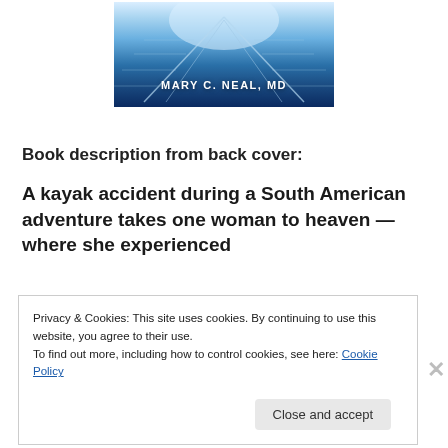[Figure (photo): Book cover image with a bridge/walkway perspective in blue tones and text 'MARY C. NEAL, MD']
Book description from back cover:
A kayak accident during a South American adventure takes one woman to heaven — where she experienced
Privacy & Cookies: This site uses cookies. By continuing to use this website, you agree to their use.
To find out more, including how to control cookies, see here: Cookie Policy
Close and accept